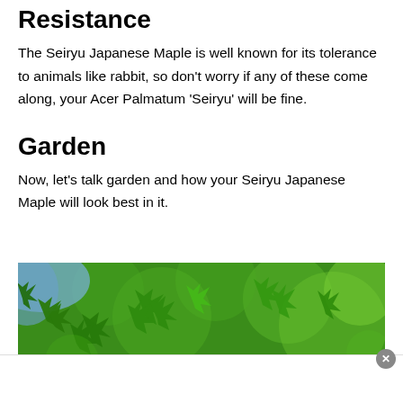Resistance
The Seiryu Japanese Maple is well known for its tolerance to animals like rabbit, so don't worry if any of these come along, your Acer Palmatum ‘Seiryu’ will be fine.
Garden
Now, let’s talk garden and how your Seiryu Japanese Maple will look best in it.
[Figure (photo): Close-up photo of green Japanese Maple leaves with bokeh background, some blue sky visible in upper left corner.]